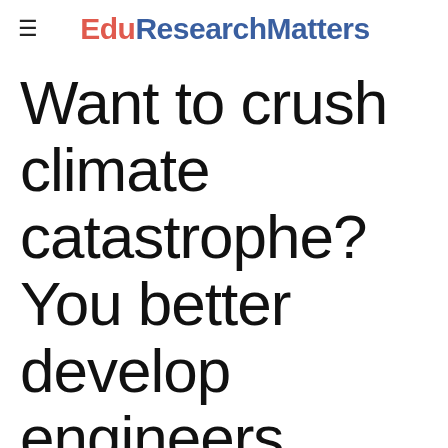EduResearchMatters
Want to crush climate catastrophe? You better develop engineers early
August 23, 2021   STEM education   Elena Prieto, Engineering, STEM education